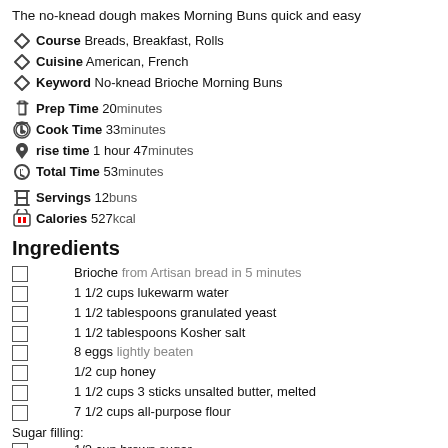The no-knead dough makes Morning Buns quick and easy
Course Breads, Breakfast, Rolls
Cuisine American, French
Keyword No-knead Brioche Morning Buns
Prep Time 20 minutes
Cook Time 33 minutes
rise time 1 hour 47 minutes
Total Time 53 minutes
Servings 12 buns
Calories 527 kcal
Ingredients
Brioche from Artisan bread in 5 minutes
1 1/2 cups lukewarm water
1 1/2 tablespoons granulated yeast
1 1/2 tablespoons Kosher salt
8 eggs lightly beaten
1/2 cup honey
1 1/2 cups 3 sticks unsalted butter, melted
7 1/2 cups all-purpose flour
Sugar filling:
1/2 cup brown sugar
1/2 cup white sugar
zest from 2 oranges